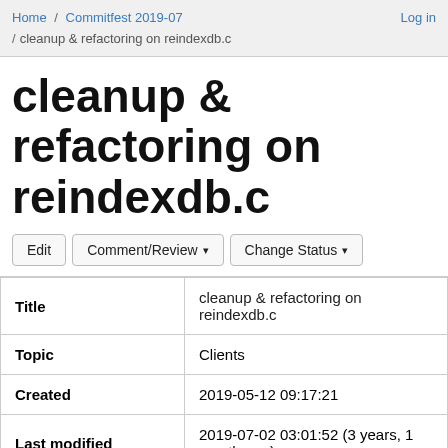Home / Commitfest 2019-07 / cleanup & refactoring on reindexdb.c / Log in
cleanup & refactoring on reindexdb.c
Edit | Comment/Review ▾ | Change Status ▾
| Field | Value |
| --- | --- |
| Title | cleanup & refactoring on reindexdb.c |
| Topic | Clients |
| Created | 2019-05-12 09:17:21 |
| Last modified | 2019-07-02 03:01:52 (3 years, 1 month ago) |
| Latest email | 2019-07-02 05:12:38 (3 years, 1 month ago) |
| Status | 2019-07: Committed |
| Target | 12 |